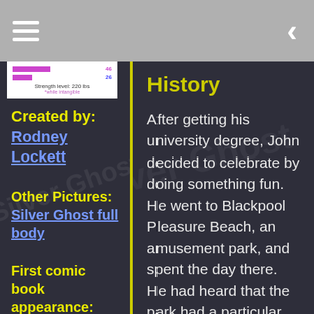Navigation bar with hamburger menu and back arrow
[Figure (table-as-image): Stats table showing strength levels with colored bars, strength level: 220 lbs, *while intangible]
Created by: Rodney Lockett
Other Pictures: Silver Ghost full body
First comic book appearance: All-Winners Society #1
History
After getting his university degree, John decided to celebrate by doing something fun. He went to Blackpool Pleasure Beach, an amusement park, and spent the day there. He had heard that the park had a particular ride and he had been intrigued by it, so he decided to try it out.
The ride in question had opened